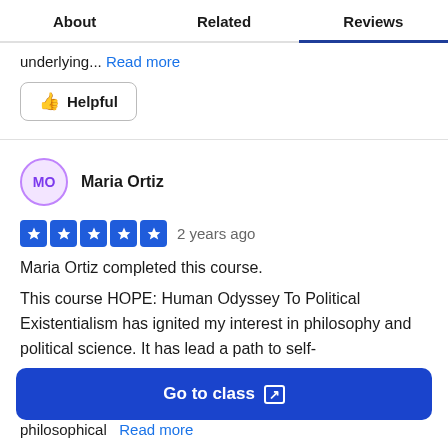About | Related | Reviews
underlying... Read more
👍 Helpful
MO  Maria Ortiz
★★★★★  2 years ago
Maria Ortiz completed this course.
This course HOPE: Human Odyssey To Political Existentialism has ignited my interest in philosophy and political science. It has lead a path to self-
Go to class ↗
philosophical  Read more